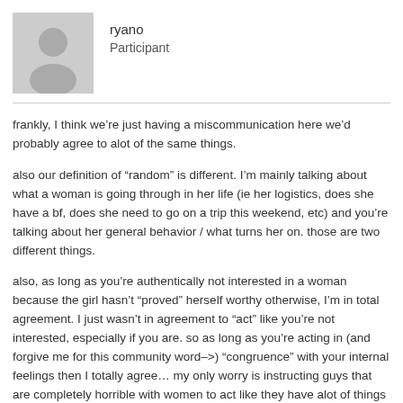ryano
Participant
frankly, I think we’re just having a miscommunication here we’d probably agree to alot of the same things.
also our definition of “random” is different. I’m mainly talking about what a woman is going through in her life (ie her logistics, does she have a bf, does she need to go on a trip this weekend, etc) and you’re talking about her general behavior / what turns her on. those are two different things.
also, as long as you’re authentically not interested in a woman because the girl hasn’t “proved” herself worthy otherwise, I’m in total agreement. I just wasn’t in agreement to “act” like you’re not interested, especially if you are. so as long as you’re acting in (and forgive me for this community word–>) “congruence” with your internal feelings then I totally agree… my only worry is instructing guys that are completely horrible with women to act like they have alot of things going on in their life; or giving a guy a “story” when his